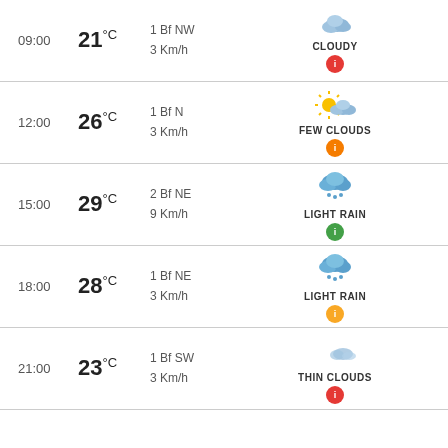| Time | Temp | Wind | Condition |
| --- | --- | --- | --- |
| 09:00 | 21°C | 1 Bf NW
3 Km/h | CLOUDY |
| 12:00 | 26°C | 1 Bf N
3 Km/h | FEW CLOUDS |
| 15:00 | 29°C | 2 Bf NE
9 Km/h | LIGHT RAIN |
| 18:00 | 28°C | 1 Bf NE
3 Km/h | LIGHT RAIN |
| 21:00 | 23°C | 1 Bf SW
3 Km/h | THIN CLOUDS |